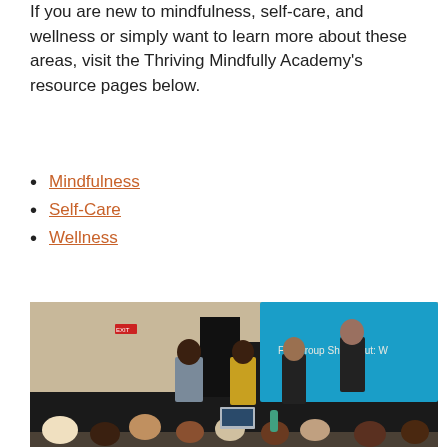If you are new to mindfulness, self-care, and wellness or simply want to learn more about these areas, visit the Thriving Mindfully Academy's resource pages below.
Mindfulness
Self-Care
Wellness
[Figure (photo): Conference room photo showing several people standing at the front of a room with audience members seated at tables. A blue presentation screen in the background reads 'Full Group Share Out:'.]